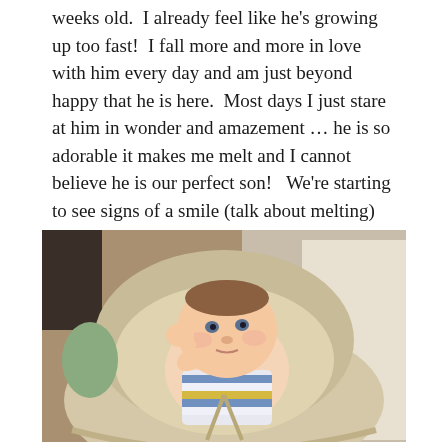weeks old.  I already feel like he's growing up too fast!  I fall more and more in love with him every day and am just beyond happy that he is here.  Most days I just stare at him in wonder and amazement … he is so adorable it makes me melt and I cannot believe he is our perfect son!   We're starting to see signs of a smile (talk about melting) so hopefully we'll be able to capture it on film soon!
[Figure (photo): A baby boy in a striped onesie (blue, white, yellow stripes) sitting/reclining in a cream-colored baby bouncer/swing seat, raising one fist. Background shows a room with furniture and a light-colored cloth draping the side of the seat. A green padded piece is visible on the left side of the seat.]